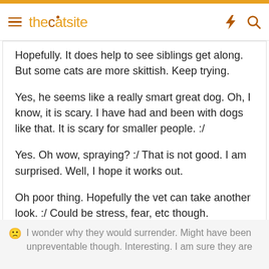thecatsite
Hopefully. It does help to see siblings get along. But some cats are more skittish. Keep trying.
Yes, he seems like a really smart great dog. Oh, I know, it is scary. I have had and been with dogs like that. It is scary for smaller people. :/
Yes. Oh wow, spraying? :/ That is not good. I am surprised. Well, I hope it works out.
Oh poor thing. Hopefully the vet can take another look. :/ Could be stress, fear, etc though. Heartbreaking. 🙁
🙁 I wonder why they would surrender. Might have been unpreventable though. Interesting. I am sure they are